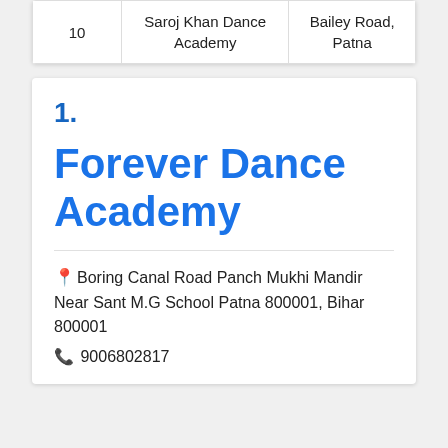| 10 | Saroj Khan Dance Academy | Bailey Road, Patna |
1.
Forever Dance Academy
Boring Canal Road Panch Mukhi Mandir Near Sant M.G School Patna 800001, Bihar 800001
9006802817